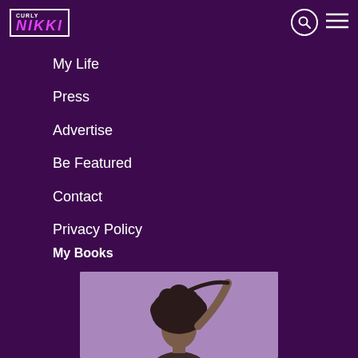Curly Nikki
My Life
Press
Advertise
Be Featured
Contact
Privacy Policy
My Books
[Figure (photo): Book cover or promotional image featuring a woman with natural curly hair against a purple background]